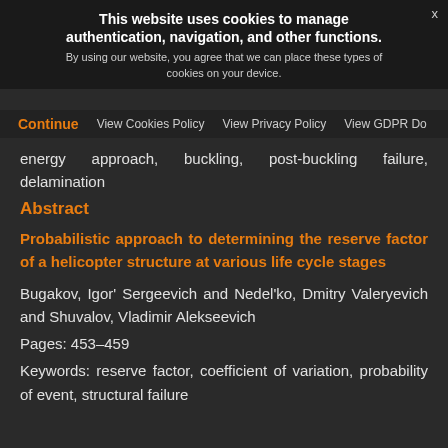This website uses cookies to manage authentication, navigation, and other functions. By using our website, you agree that we can place these types of cookies on your device.
Continue   View Cookies Policy   View Privacy Policy   View GDPR Do
energy approach, buckling, post-buckling failure, delamination
Abstract
Probabilistic approach to determining the reserve factor of a helicopter structure at various life cycle stages
Bugakov, Igor' Sergeevich and Nedel'ko, Dmitry Valeryevich and Shuvalov, Vladimir Alekseevich
Pages: 453–459
Keywords: reserve factor, coefficient of variation, probability of event, structural failure